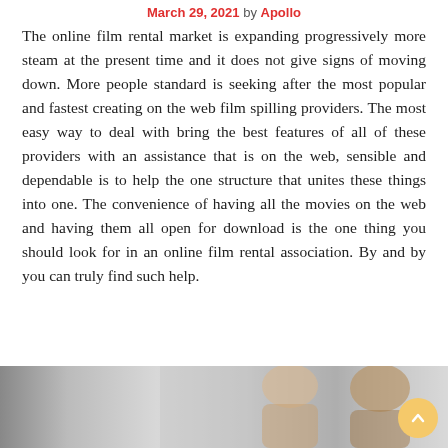March 29, 2021 by Apollo
The online film rental market is expanding progressively more steam at the present time and it does not give signs of moving down. More people standard is seeking after the most popular and fastest creating on the web film spilling providers. The most easy way to deal with bring the best features of all of these providers with an assistance that is on the web, sensible and dependable is to help the one structure that unites these things into one. The convenience of having all the movies on the web and having them all open for download is the one thing you should look for in an online film rental association. By and by you can truly find such help.
[Figure (photo): Partial photo strip at the bottom of the page showing two people (a woman and a man) smiling, with a blurred background]